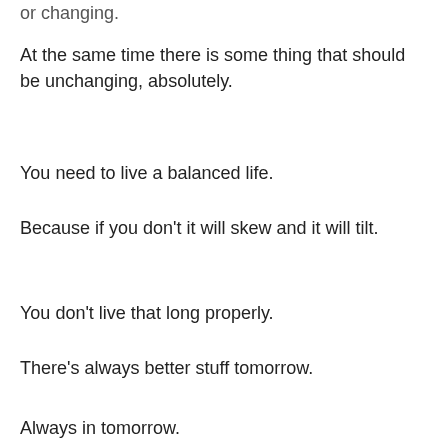or changing.
At the same time there is some thing that should be unchanging, absolutely.
You need to live a balanced life.
Because if you don't it will skew and it will tilt.
You don't live that long properly.
There's always better stuff tomorrow.
Always in tomorrow.
Believe it.